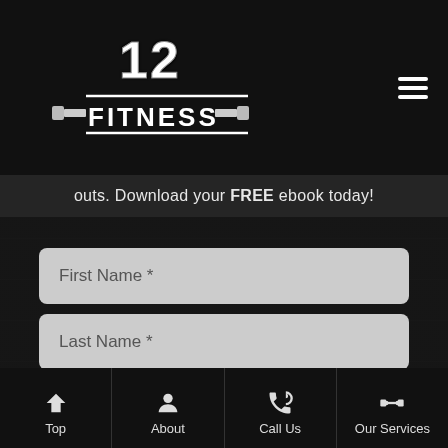[Figure (logo): 12 Fitness gym logo with barbell graphic and bold text]
outs. Download your FREE ebook today!
First Name *
Last Name *
Email *
Phone *
How can we help you?
Top | About | Call Us | Our Services